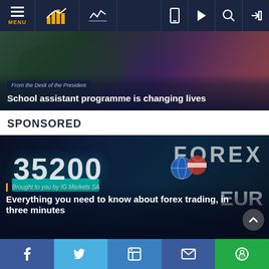MENU (navigation bar with icons)
[Figure (photo): Hero image of a person's face with dark overlay. Caption area shows article label and title.]
From the Desk of the President
School assistant programme is changing lives
SPONSORED
[Figure (photo): Dark forex trading screen showing number 35200, EUR text, globe/flag icons, and text 'FOREX' in background. Sponsored by IG Markets SA.]
Brought to you by IG Markets SA
Everything you need to know about forex trading, in three minutes
Social share bar: Facebook, Twitter, LinkedIn, Email, WhatsApp